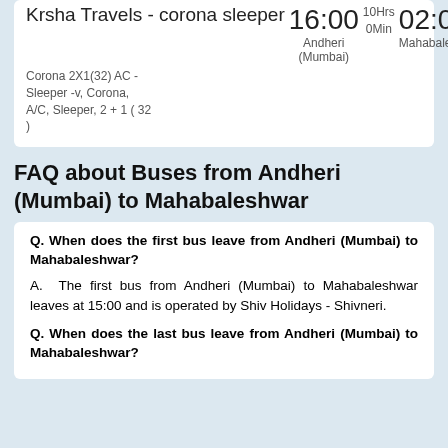Krsha Travels - corona sleeper
16:00 Andheri (Mumbai)
10Hrs 0Min
02:00 Mahabaleshwar
Book
Corona 2X1(32) AC - Sleeper -v, Corona, A/C, Sleeper, 2 + 1 ( 32 )
FAQ about Buses from Andheri (Mumbai) to Mahabaleshwar
Q. When does the first bus leave from Andheri (Mumbai) to Mahabaleshwar?
A. The first bus from Andheri (Mumbai) to Mahabaleshwar leaves at 15:00 and is operated by Shiv Holidays - Shivneri.
Q. When does the last bus leave from Andheri (Mumbai) to Mahabaleshwar?